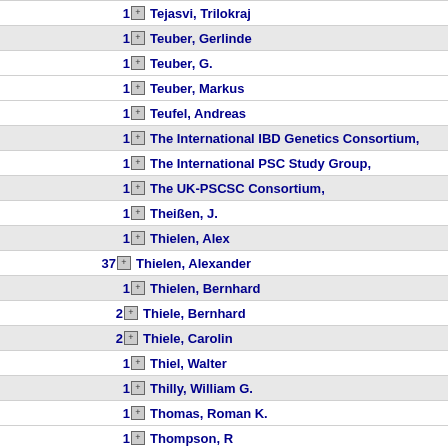1 Tejasvi, Trilokraj
1 Teuber, Gerlinde
1 Teuber, G.
1 Teuber, Markus
1 Teufel, Andreas
1 The International IBD Genetics Consortium,
1 The International PSC Study Group,
1 The UK-PSCSC Consortium,
1 Theißen, J.
1 Thielen, Alex
37 Thielen, Alexander
1 Thielen, Bernhard
2 Thiele, Bernhard
2 Thiele, Carolin
1 Thiel, Walter
1 Thilly, William G.
1 Thomas, Roman K.
1 Thompson, R
1 Thompson, Wesley K.
1 Thomsen, Ingo
1 Thoppae, G.
1 Thoresona, Wallace B.